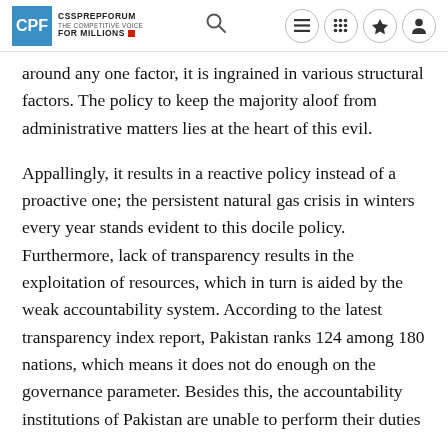CPF CSSPREPFORUM THE COMPETITIVE VOICE FOR MILLIONS
around any one factor, it is ingrained in various structural factors. The policy to keep the majority aloof from administrative matters lies at the heart of this evil.
Appallingly, it results in a reactive policy instead of a proactive one; the persistent natural gas crisis in winters every year stands evident to this docile policy. Furthermore, lack of transparency results in the exploitation of resources, which in turn is aided by the weak accountability system. According to the latest transparency index report, Pakistan ranks 124 among 180 nations, which means it does not do enough on the governance parameter. Besides this, the accountability institutions of Pakistan are unable to perform their duties